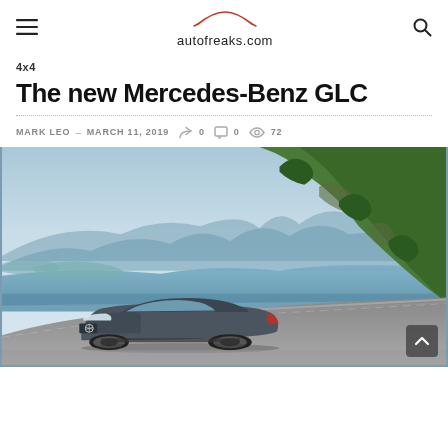autofreaks.com
4x4
The new Mercedes-Benz GLC
MARK LEO – MARCH 11, 2019  ➤ 0  ☐ 0  👁 72
[Figure (photo): Mercedes-Benz GLC SUV driving on a coastal mountain road with rocky hillside and sea visible in the background]